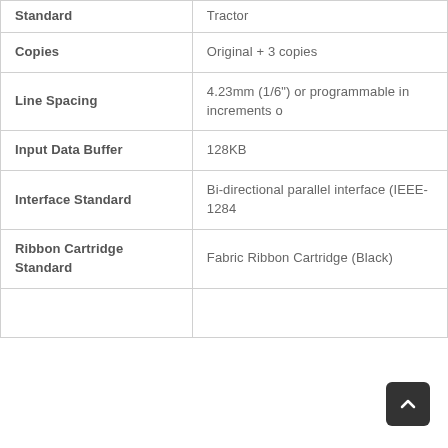| Feature | Value |
| --- | --- |
| Standard | Tractor |
| Copies | Original + 3 copies |
| Line Spacing | 4.23mm (1/6") or programmable in increments o |
| Input Data Buffer | 128KB |
| Interface Standard | Bi-directional parallel interface (IEEE-1284 |
| Ribbon Cartridge Standard | Fabric Ribbon Cartridge (Black) |
|  |  |